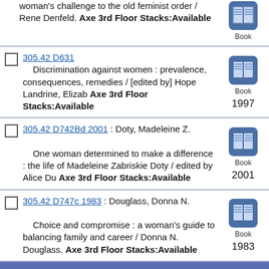woman's challenge to the old feminist order / Rene Denfeld. Axe 3rd Floor Stacks:Available
305.42 D631 — Discrimination against women : prevalence, consequences, remedies / [edited by] Hope Landrine, Elizab Axe 3rd Floor Stacks:Available — 1997
305.42 D742Bd 2001 : Doty, Madeleine Z. — One woman determined to make a difference : the life of Madeleine Zabriskie Doty / edited by Alice Du Axe 3rd Floor Stacks:Available — 2001
305.42 D747c 1983 : Douglass, Donna N. — Choice and compromise : a woman's guide to balancing family and career / Donna N. Douglass. Axe 3rd Floor Stacks:Available — 1983